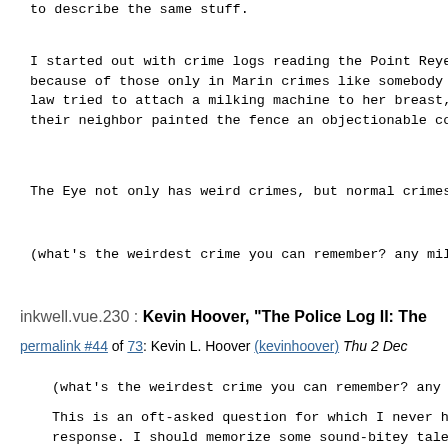to describe the same stuff.
I started out with crime logs reading the Point Reyes because of those only in Marin crimes like somebody law tried to attach a milking machine to her breast, their neighbor painted the fence an objectionable col
The Eye not only has weird crimes, but normal crimes
(what's the weirdest crime you can remember? any milk
inkwell.vue.230 : Kevin Hoover, "The Police Log II: The
permalink #44 of 73: Kevin L. Hoover (kevinhoover) Thu 2 Dec
(what's the weirdest crime you can remember? any milk
This is an oft-asked question for which I never have response. I should memorize some sound-bitey tales fr books to regurg on demand.
There was the guy who called the cops about the milk The milk level in the carton was an inch or so at var memory of what it should be. In the intro to Vol. II, moron (in so many words) who, likely addled by speed sheer genius, struggled to rip a stereo out of a dash middle of the night while leaning into the steering w the horn, which of course alerted the neighborhood to